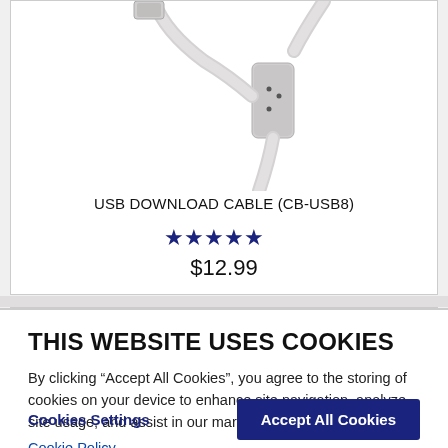[Figure (photo): USB download cable (CB-USB8) product photo showing a gray USB cable with ferrite bead connector against white background]
USB DOWNLOAD CABLE (CB-USB8)
[Figure (other): Five dark blue star rating icons indicating 5-star review]
$12.99
THIS WEBSITE USES COOKIES
By clicking “Accept All Cookies”, you agree to the storing of cookies on your device to enhance site navigation, analyze site usage, and assist in our marketing efforts.
Cookie Policy
Cookies Settings
Accept All Cookies